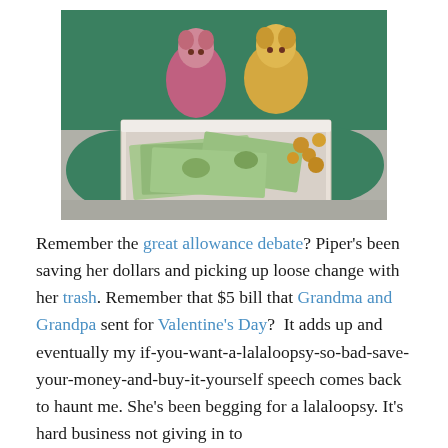[Figure (photo): A child holding an open white box filled with dollar bills and coins, with two stuffed animal dolls (chipmunks/squirrels) in the background, sitting on a carpet.]
Remember the great allowance debate? Piper's been saving her dollars and picking up loose change with her trash. Remember that $5 bill that Grandma and Grandpa sent for Valentine's Day?  It adds up and eventually my if-you-want-a-lalaloopsy-so-bad-save-your-money-and-buy-it-yourself speech comes back to haunt me. She's been begging for a lalaloopsy. It's hard business not giving in to